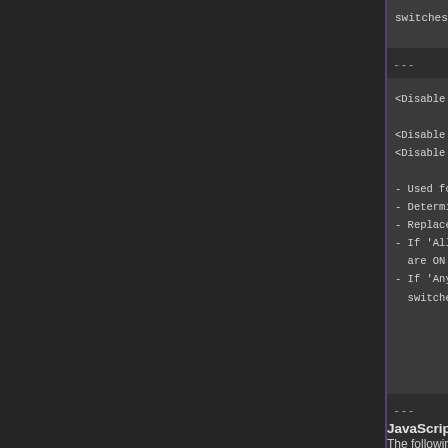switches are ON. Otherwise,
---
<Disable Switch: x>

<Disable All Switches: x,x,x>
<Disable Any Switches: x,x,x>

- Used for: Skill Notetags
- Determines the enabled status
- Replace 'x' with the switch I
- If 'All' notetag variant is u
  are ON. Then, it would be dis
- If 'Any' notetag variant is u
  switches are ON. Otherwise, I
---
JavaScript Notetags: Skill Accessib
The following are notetags made for users w
usage.